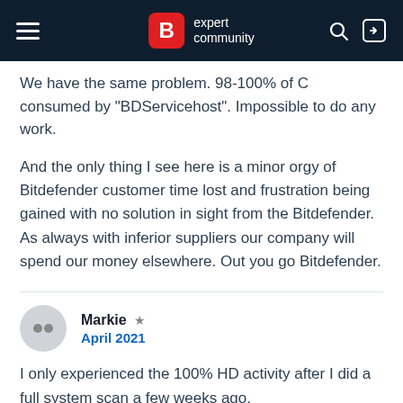B expert community
We have the same problem. 98-100% of C consumed by "BDServicehost". Impossible to do any work.
And the only thing I see here is a minor orgy of Bitdefender customer time lost and frustration being gained with no solution in sight from the Bitdefender. As always with inferior suppliers our company will spend our money elsewhere. Out you go Bitdefender.
Markie ★
April 2021
I only experienced the 100% HD activity after I did a full system scan a few weeks ago.
Since then I've narrowed it down to 3 processes, one of